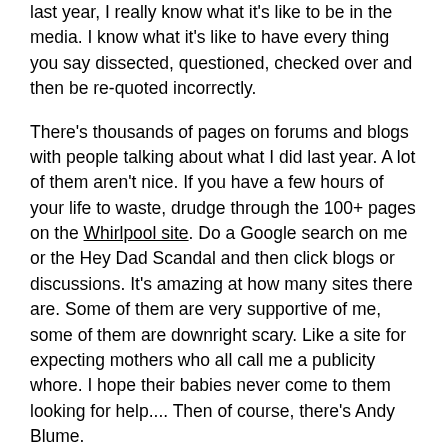last year, I really know what it's like to be in the media. I know what it's like to have every thing you say dissected, questioned, checked over and then be re-quoted incorrectly.
There's thousands of pages on forums and blogs with people talking about what I did last year. A lot of them aren't nice. If you have a few hours of your life to waste, drudge through the 100+ pages on the Whirlpool site. Do a Google search on me or the Hey Dad Scandal and then click blogs or discussions. It's amazing at how many sites there are. Some of them are very supportive of me, some of them are downright scary. Like a site for expecting mothers who all call me a publicity whore. I hope their babies never come to them looking for help.... Then of course, there's Andy Blume.
Now, at first look, Andy really is a professional c*nt, as he puts it. The first time I found his site in April of last year, as